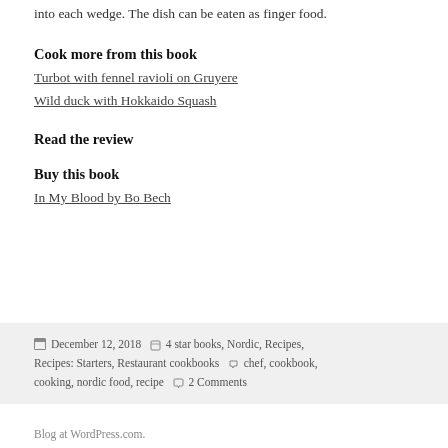into each wedge. The dish can be eaten as finger food.
Cook more from this book
Turbot with fennel ravioli on Gruyere
Wild duck with Hokkaido Squash
Read the review
Buy this book
In My Blood by Bo Bech
Posted December 12, 2018 Categories 4 star books, Nordic, Recipes, Recipes: Starters, Restaurant cookbooks Tags chef, cookbook, cooking, nordic food, recipe 2 Comments
Blog at WordPress.com.